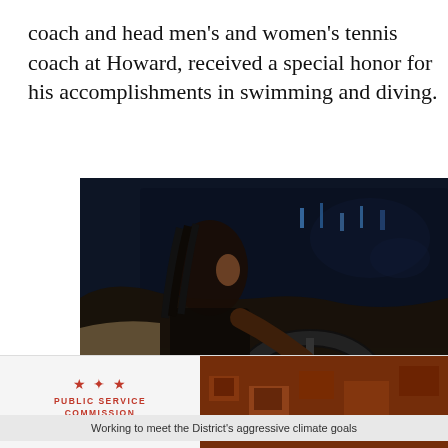coach and head men's and women's tennis coach at Howard, received a special honor for his accomplishments in swimming and diving.
[Figure (photo): Cadillac advertisement showing a woman with braids driving a car at night with text 'MAKE THE ROAD AHEAD AUDACITY']
[Figure (infographic): Two advertisements side by side: Public Service Commission District of Columbia on the left, Community Heat Pump Pilot Project on the right]
Working to meet the District's aggressive climate goals